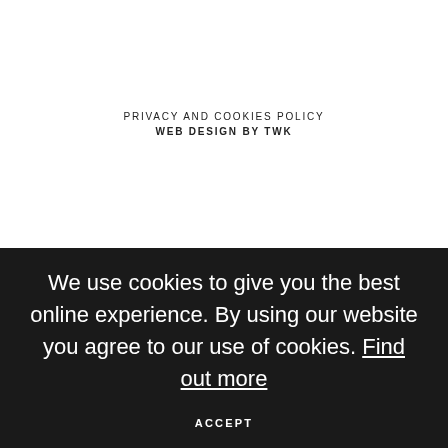PRIVACY AND COOKIES POLICY
WEB DESIGN BY TWK
We use cookies to give you the best online experience. By using our website you agree to our use of cookies. Find out more
ACCEPT